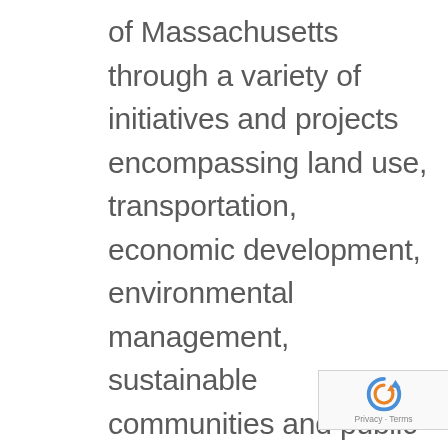of Massachusetts through a variety of initiatives and projects encompassing land use, transportation, economic development, environmental management, sustainable communities and public health. BRPC has been actively collaborating with 32 rural and urban communities since 1966 to deal with the regional challenges, opportunities and assets. Recommendations are crafted to strengthen the region's built environment, natural landscape and environment, governance and economy. Per federal mandate, BRPC is responsible for major